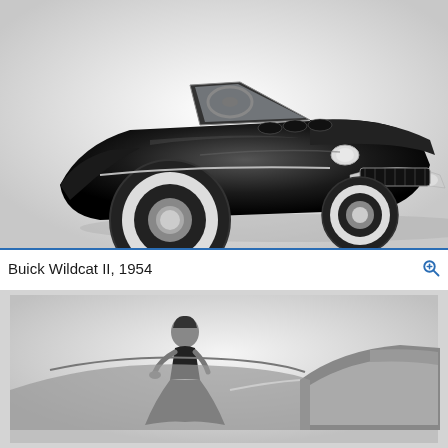[Figure (photo): Black and white photograph of a Buick Wildcat II concept car from 1954, shot from a three-quarter front angle showing the sleek dark body, chrome details, open convertible top, and white wall tires.]
Buick Wildcat II, 1954
[Figure (photo): Black and white photograph of a woman in a full skirt dress standing beside a Buick Wildcat II concept car, with the car's tail fin visible in the foreground.]